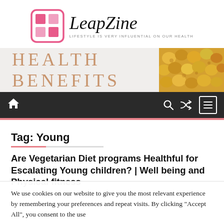[Figure (logo): LeapZine logo with pink grid icon and italic serif logotype, tagline: LIFESTYLE IS VERY INFLUENTIAL ON OUR HEALTH]
[Figure (photo): Health Benefits banner with caramel popcorn image on the right side]
[Figure (screenshot): Dark navigation bar with home icon, search icon, shuffle icon, and menu icon]
Tag: Young
Are Vegetarian Diet programs Healthful for Escalating Young children? | Well being and Physical fitness
We use cookies on our website to give you the most relevant experience by remembering your preferences and repeat visits. By clicking "Accept All", you consent to the use